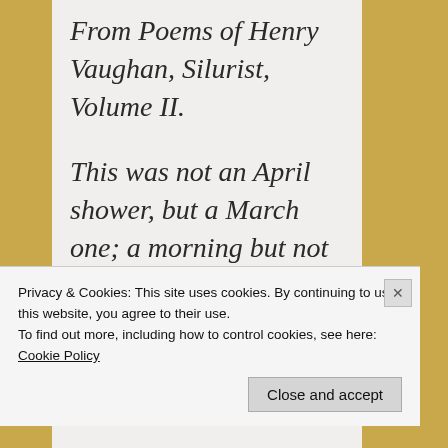From Poems of Henry Vaughan, Silurist, Volume II.
This was not an April shower, but a March one; a morning but not an evening shower
Privacy & Cookies: This site uses cookies. By continuing to use this website, you agree to their use. To find out more, including how to control cookies, see here: Cookie Policy